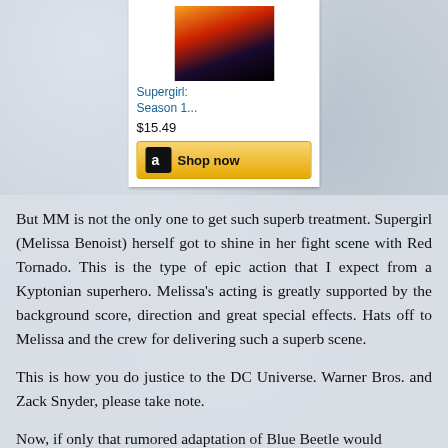[Figure (other): Amazon product card showing Supergirl Season 1 DVD/Blu-ray with image, price $15.49, and Shop now button]
But MM is not the only one to get such superb treatment. Supergirl (Melissa Benoist) herself got to shine in her fight scene with Red Tornado. This is the type of epic action that I expect from a Kyptonian superhero. Melissa's acting is greatly supported by the background score, direction and great special effects. Hats off to Melissa and the crew for delivering such a superb scene.
This is how you do justice to the DC Universe. Warner Bros. and Zack Snyder, please take note.
Now, if only that rumored adaptation of Blue Beetle would